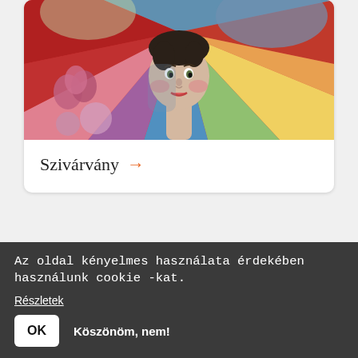[Figure (illustration): Colorful illustration of a person with radiating rainbow rays, red and pink shapes on the left, artistic painting style]
Szivárvány →
[Figure (illustration): Blue-grey watercolor landscape with muted tones]
Az oldal kényelmes használata érdekében használunk cookie -kat.
Részletek
OK   Köszönöm, nem!